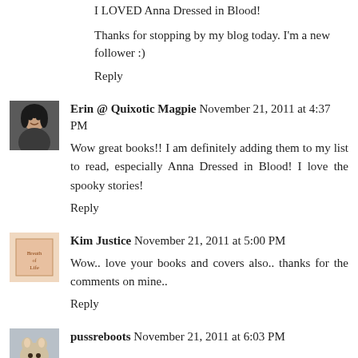I LOVED Anna Dressed in Blood!
Thanks for stopping by my blog today. I'm a new follower :)
Reply
Erin @ Quixotic Magpie  November 21, 2011 at 4:37 PM
Wow great books!! I am definitely adding them to my list to read, especially Anna Dressed in Blood! I love the spooky stories!
Reply
Kim Justice  November 21, 2011 at 5:00 PM
Wow.. love your books and covers also.. thanks for the comments on mine..
Reply
pussreboots  November 21, 2011 at 6:03 PM